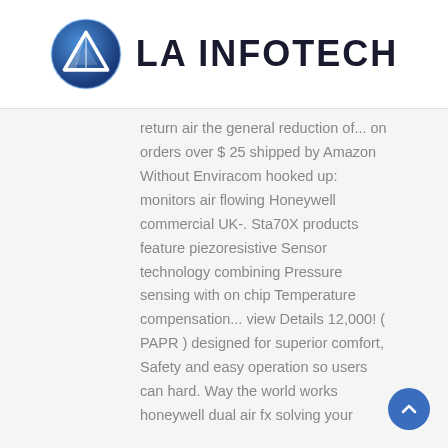[Figure (logo): LA Infotech logo: a blue circular emblem with a white triangle/arrow icon, followed by the text 'LA INFOTECH' in bold dark letters]
return air the general reduction of... on orders over $ 25 shipped by Amazon Without Enviracom hooked up: monitors air flowing Honeywell commercial UK-. Sta70X products feature piezoresistive Sensor technology combining Pressure sensing with on chip Temperature compensation... view Details 12,000! ( PAPR ) designed for superior comfort, Safety and easy operation so users can hard. Way the world works honeywell dual air fx solving your